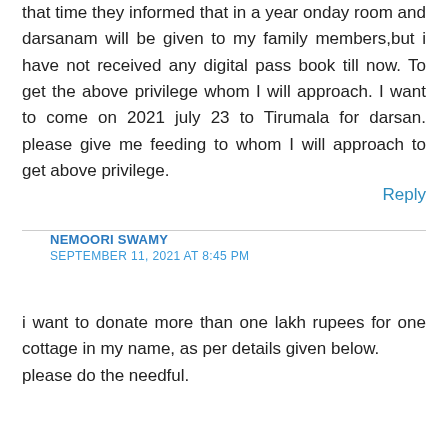that time they informed that in a year onday room and darsanam will be given to my family members,but i have not received any digital pass book till now. To get the above privilege whom I will approach. I want to come on 2021 july 23 to Tirumala for darsan. please give me feeding to whom I will approach to get above privilege.
Reply
NEMOORI SWAMY
SEPTEMBER 11, 2021 AT 8:45 PM
i want to donate more than one lakh rupees for one cottage in my name, as per details given below. please do the needful.